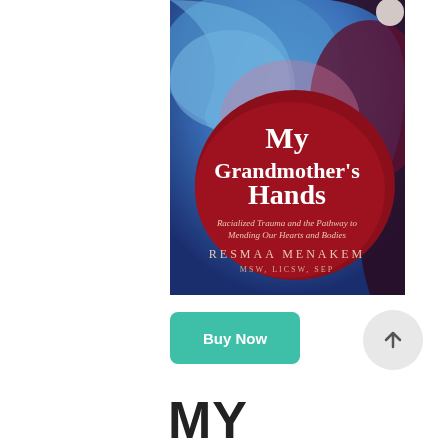[Figure (illustration): Book cover of 'My Grandmother's Hands: Racialized Trauma and the Pathway to Mending Our Hearts and Bodies' by Resmaa Menakem, MSW, LICSW, SEP. Cover features abstract swirling blue and dark red/maroon artwork with white serif title text on a deep red center shape.]
Buy Now
MY